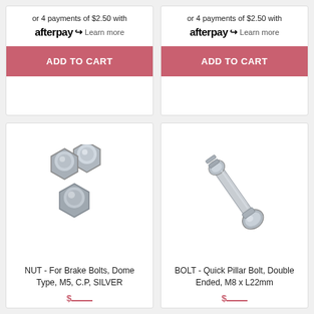or 4 payments of $2.50 with afterpay Learn more
ADD TO CART
or 4 payments of $2.50 with afterpay Learn more
ADD TO CART
[Figure (photo): Three silver dome-type hexagonal nuts (M5, chrome plated)]
NUT - For Brake Bolts, Dome Type, M5, C.P, SILVER
$...
[Figure (photo): Chrome-plated quick pillar bolt, double ended, M8 x L22mm]
BOLT - Quick Pillar Bolt, Double Ended, M8 x L22mm
$...